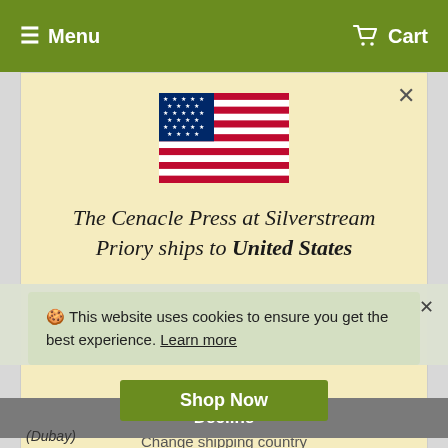Menu   Cart
[Figure (illustration): US flag SVG icon centered in modal dialog]
The Cenacle Press at Silverstream Priory ships to United States
Shop in EUR €
Get shipping options for United States
Shop Now
Change shipping country
🍪 This website uses cookies to ensure you get the best experience. Learn more
Decline
(Dubay)